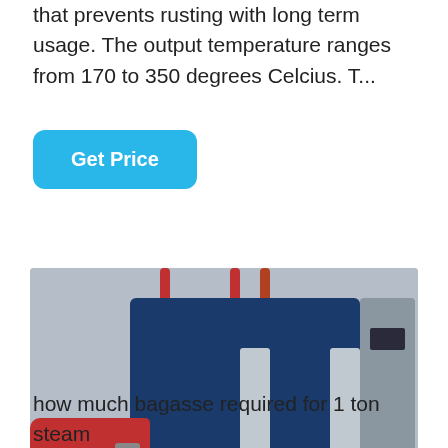that prevents rusting with long term usage. The output temperature ranges from 170 to 350 degrees Celcius. T...
Get Price
[Figure (photo): Industrial steam boiler with blue metal body, red burner unit at front-left, silver panels, pipes at top, and a WhatsApp 'Contact us now!' badge overlay in a warehouse/factory setting.]
how much bagasse required for 1 ton steam